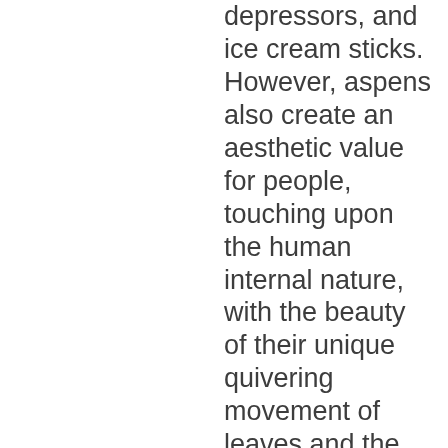depressors, and ice cream sticks. However, aspens also create an aesthetic value for people, touching upon the human internal nature, with the beauty of their unique quivering movement of leaves and the rich fall colors adding to the enjoyment of